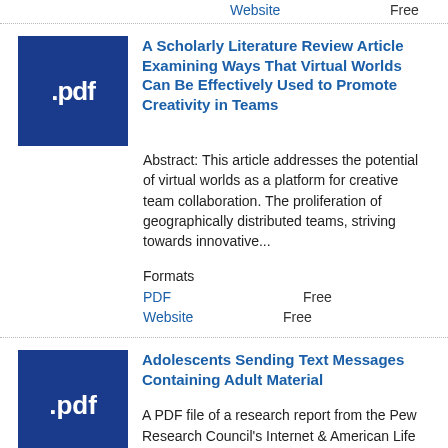Website    Free
[Figure (illustration): Dark blue PDF icon showing .pdf text]
A Scholarly Literature Review Article Examining Ways That Virtual Worlds Can Be Effectively Used to Promote Creativity in Teams
Abstract: This article addresses the potential of virtual worlds as a platform for creative team collaboration. The proliferation of geographically distributed teams, striving towards innovative...
Formats
PDF    Free
Website    Free
[Figure (illustration): Dark blue PDF icon showing .pdf text]
Adolescents Sending Text Messages Containing Adult Material
A PDF file of a research report from the Pew Research Council's Internet & American Life Project. It reports both quantitative and qualitative data on adolescents and sending phone text messages that